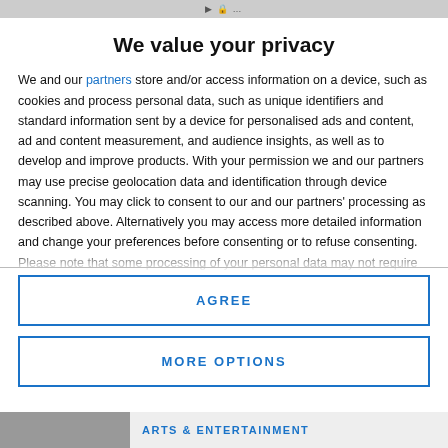We value your privacy
We and our partners store and/or access information on a device, such as cookies and process personal data, such as unique identifiers and standard information sent by a device for personalised ads and content, ad and content measurement, and audience insights, as well as to develop and improve products. With your permission we and our partners may use precise geolocation data and identification through device scanning. You may click to consent to our and our partners' processing as described above. Alternatively you may access more detailed information and change your preferences before consenting or to refuse consenting. Please note that some processing of your personal data may not require your consent, but you have a right to
AGREE
MORE OPTIONS
ARTS & ENTERTAINMENT